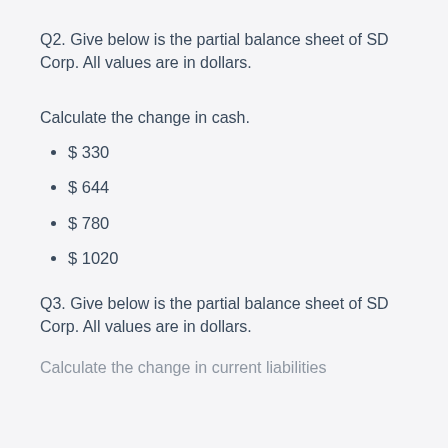Q2. Give below is the partial balance sheet of SD Corp. All values are in dollars.
Calculate the change in cash.
$ 330
$ 644
$ 780
$ 1020
Q3. Give below is the partial balance sheet of SD Corp. All values are in dollars.
Calculate the change in current liabilities